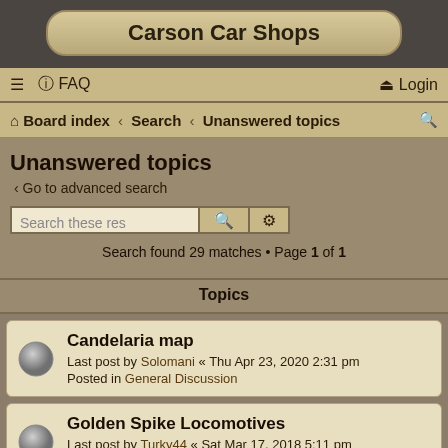Carson Car Shops
≡ ❓ FAQ   Login
🏠 Board index ‹ Search ‹ Unanswered topics
Unanswered topics
‹ Go to advanced search
Search these res [search] [settings]
Search found 29 matches • Page 1 of 1
Topics
Candelaria map
Last post by Solomani « Thu Apr 23, 2020 2:31 pm
Posted in General Discussion
Golden Spike Locomotives
Last post by Turky44 « Sat Mar 17, 2018 5:11 pm
Posted in General Discussion
4-4-0 Backhead. Help please.
Last post by TheTwistedmind « Sat Dec 27, 2014 3:44 pm